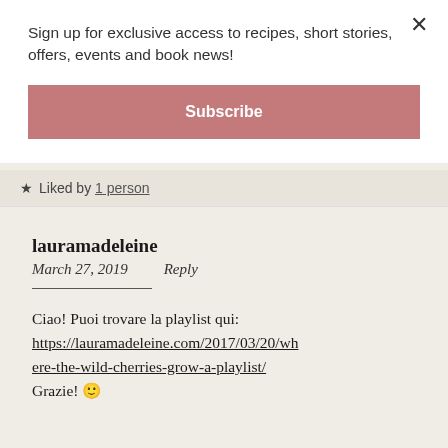Sign up for exclusive access to recipes, short stories, offers, events and book news!
Subscribe
★ Liked by 1 person
lauramadeleine
March 27, 2019    Reply
Ciao! Puoi trovare la playlist qui: https://lauramadeleine.com/2017/03/20/where-the-wild-cherries-grow-a-playlist/ Grazie! 🙂